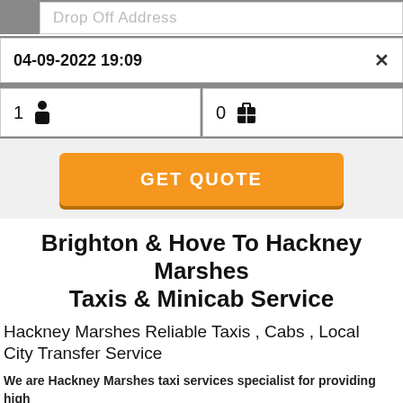Drop Off Address
04-09-2022 19:09
1 [person icon]
0 [bag icon]
GET QUOTE
Brighton & Hove To Hackney Marshes Taxis & Minicab Service
Hackney Marshes Reliable Taxis , Cabs , Local City Transfer Service
We are Hackney Marshes taxi services specialist for providing high quality taxi services for your journey with low fare.Based in Hackney